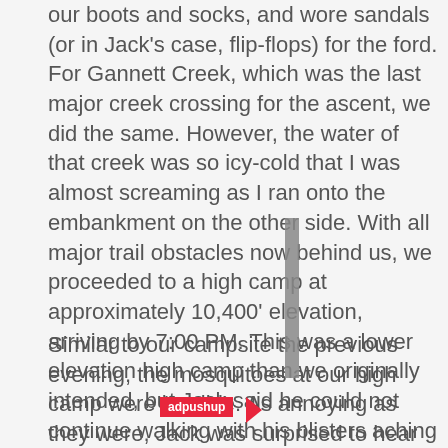our boots and socks, and wore sandals (or in Jack's case, flip-flops) for the ford. For Gannett Creek, which was the last major creek crossing for the ascent, we did the same. However, the water of that creek was so icy-cold that I was almost screaming as I ran onto the embankment on the other side. With all major trail obstacles now behind us, we proceeded to a high camp at approximately 10,400' elevation, arriving by 7:00 PM. This was a lower elevation high camp than we originally intended, but Jack said he could not continue walking with his blisters aching and the hiking day was already longer than he would ever normally do.
Similar to our campsite the previous evening, the mosquitoes at our high camp were horrible. As annoying as they were, Jack was surprised to hear me suggest the bugs on the John Muir Trail were not as annoying or plentiful as the ones I encountered at Eagle Mountain (Minnesota's State Highpoint) during the previous Summer. It had been